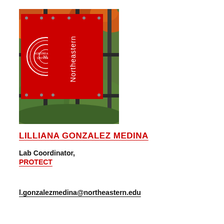[Figure (photo): Northeastern University campus banners on metal fence posts with red banners showing the university seal and 'Northeastern' text, with autumn foliage in the background]
LILLIANA GONZALEZ MEDINA
Lab Coordinator,
PROTECT
l.gonzalezmedina@northeastern.edu